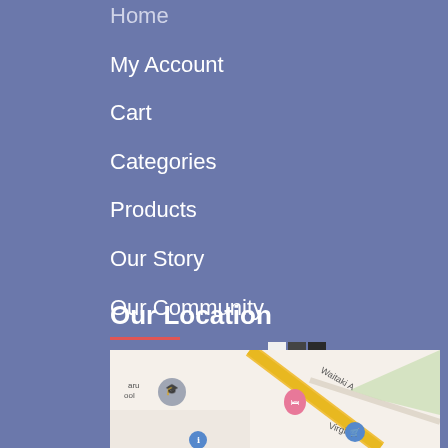Home
My Account
Cart
Categories
Products
Our Story
Our Community
Working For Us
Contact Us
Our Location
[Figure (map): Google Maps embed showing street map with Waitaki street, Virgil St, location pins including a pink hotel/accommodation pin and blue shopping/info pins, and a school marker labeled 'aru ool']